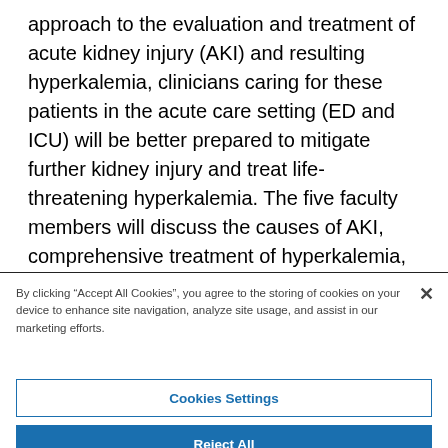approach to the evaluation and treatment of acute kidney injury (AKI) and resulting hyperkalemia, clinicians caring for these patients in the acute care setting (ED and ICU) will be better prepared to mitigate further kidney injury and treat life-threatening hyperkalemia. The five faculty members will discuss the causes of AKI, comprehensive treatment of hyperkalemia, improving cardiovascular management of critically ill patients to minimize AKI, and early
By clicking "Accept All Cookies", you agree to the storing of cookies on your device to enhance site navigation, analyze site usage, and assist in our marketing efforts.
Cookies Settings
Reject All